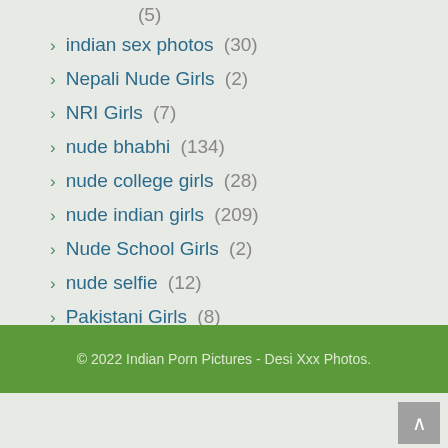(5)
indian sex photos (30)
Nepali Nude Girls (2)
NRI Girls (7)
nude bhabhi (134)
nude college girls (28)
nude indian girls (209)
Nude School Girls (2)
nude selfie (12)
Pakistani Girls (8)
Uncategorized (7)
© 2022 Indian Porn Pictures - Desi Xxx Photos.